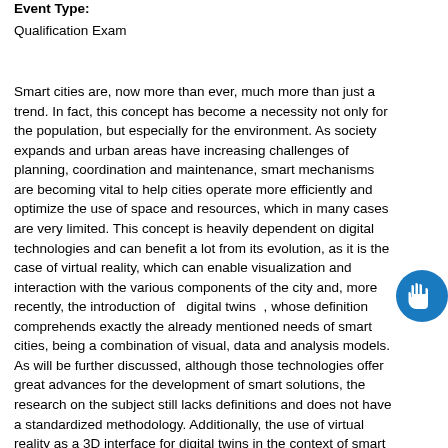Event Type:
Qualification Exam
Smart cities are, now more than ever, much more than just a trend. In fact, this concept has become a necessity not only for the population, but especially for the environment. As society expands and urban areas have increasing challenges of planning, coordination and maintenance, smart mechanisms are becoming vital to help cities operate more efficiently and optimize the use of space and resources, which in many cases are very limited. This concept is heavily dependent on digital technologies and can benefit a lot from its evolution, as it is the case of virtual reality, which can enable visualization and interaction with the various components of the city and, more recently, the introduction of   digital twins  , whose definition comprehends exactly the already mentioned needs of smart cities, being a combination of visual, data and analysis models. As will be further discussed, although those technologies offer great advances for the development of smart solutions, the research on the subject still lacks definitions and does not have a standardized methodology. Additionally, the use of virtual reality as a 3D interface for digital twins in the context of smart cities is not explored in the literature. With that in mind, this project aims at investigating the
[Figure (logo): Circular blue icon with a white hand/gesture symbol]